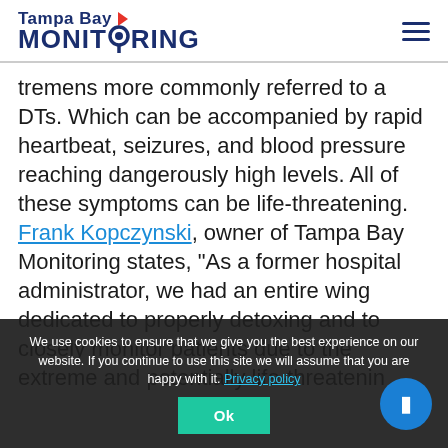Tampa Bay MONITORING
tremens more commonly referred to a DTs. Which can be accompanied by rapid heartbeat, seizures, and blood pressure reaching dangerously high levels. All of these symptoms can be life-threatening.
Frank Kopczynski, owner of Tampa Bay Monitoring states, “As a former hospital administrator, we had an entire wing dedicated to properly detoxing and to closely monitor patients due to the extreme and potentially life-threatening
We use cookies to ensure that we give you the best experience on our website. If you continue to use this site we will assume that you are happy with it. Privacy policy Ok